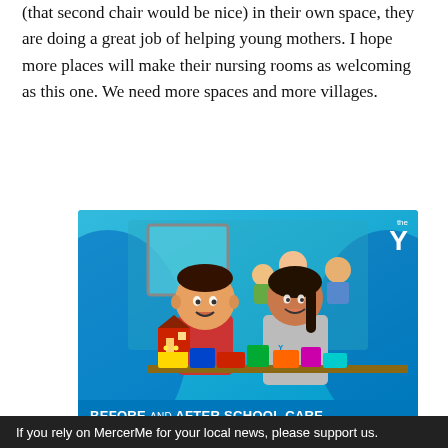(that second chair would be nice) in their own space, they are doing a great job of helping young mothers. I hope more places will make their nursing rooms as welcoming as this one. We need more spaces and more villages.
[Figure (photo): YMCA advertisement for Before and After School Care at Hopewell Valley YMCA showing children playing with colorful building blocks, with text: BEFORE AND AFTER SCHOOL CARE, FLEXIBLE SCHEDULES, FINANCIAL ASSISTANCE AVAILABLE, www.hvymca.org, Hopewell Valley YMCA]
If you rely on MercerMe for your local news, please support us.